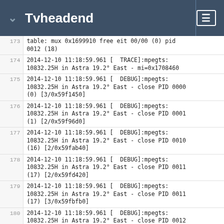Tvheadend
173 table: mux 0x1699910 free eit 00/00 (0) pid 0012 (18)
174 2014-12-10 11:18:59.961 [  TRACE]:mpegts: 10832.25H in Astra 19.2° East - mi=0x1708460
175 2014-12-10 11:18:59.961 [  DEBUG]:mpegts: 10832.25H in Astra 19.2° East - close PID 0000 (0) [3/0x59f1450]
176 2014-12-10 11:18:59.961 [  DEBUG]:mpegts: 10832.25H in Astra 19.2° East - close PID 0001 (1) [2/0x59f96d0]
177 2014-12-10 11:18:59.961 [  DEBUG]:mpegts: 10832.25H in Astra 19.2° East - close PID 0010 (16) [2/0x59fab40]
178 2014-12-10 11:18:59.961 [  DEBUG]:mpegts: 10832.25H in Astra 19.2° East - close PID 0011 (17) [2/0x59fd420]
179 2014-12-10 11:18:59.961 [  DEBUG]:mpegts: 10832.25H in Astra 19.2° East - close PID 0011 (17) [3/0x59fbfb0]
180 2014-12-10 11:18:59.961 [  DEBUG]:mpegts: 10832.25H in Astra 19.2° East - close PID 0012 (18) [3/0x7f1801ff2930]
181 2014-12-10 11:18:59.961 [  DEBUG]:mpegts: 10832.25H in Astra 19.2° East - close PID 0060 (96) [2/0x7f17e800e390]
182 2014-12-10 11:18:59.961 [  DEBUG]:mpegts: 10832.25H in Astra 19.2° East - close PID 0061